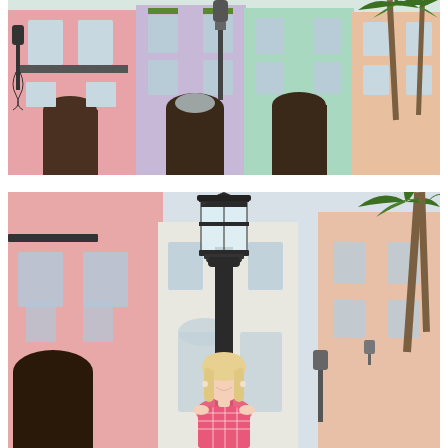[Figure (photo): Top photo: Rainbow Row in Charleston, SC — a row of pastel-colored historic buildings (pink, lavender, mint/aqua) with ornate ironwork balconies, arched doorways, and tall palm trees visible on the right side. The buildings have a charming antebellum architectural style.]
[Figure (photo): Bottom photo: A young blonde woman in a pink off-shoulder gingham top standing in front of a large wrought-iron street lamp/gas lantern on Rainbow Row, Charleston SC. The same pastel-colored buildings (pink on left, mint/white in center, peach on right) and palm trees are visible in the background. The woman is smiling and looking slightly off-camera.]